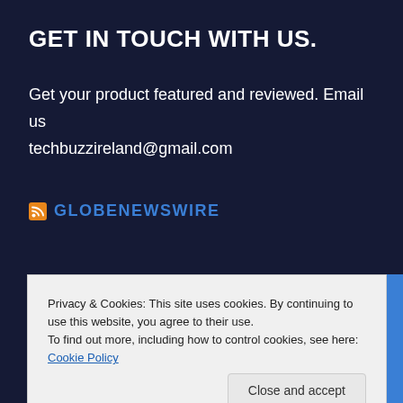GET IN TOUCH WITH US.
Get your product featured and reviewed. Email us techbuzzireland@gmail.com
GLOBENEWSWIRE
Privacy & Cookies: This site uses cookies. By continuing to use this website, you agree to their use.
To find out more, including how to control cookies, see here: Cookie Policy
Close and accept
Akoustis to Attend the 3rd Annual Needham